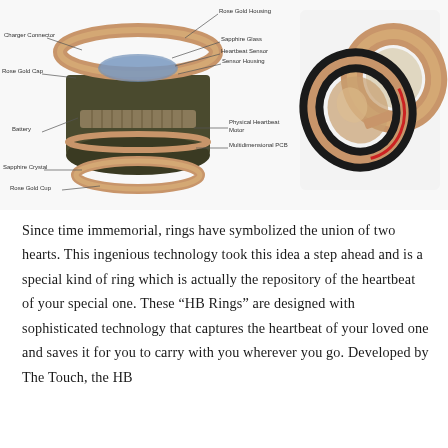[Figure (engineering-diagram): Left: Exploded/cutaway engineering diagram of an HB Ring showing labeled components including Rose Gold Housing, Charger Connector, Sapphire Glass, Heartbeat Sensor, Sensor Housing, Rose Gold Cap, Battery, Physical Heartbeat Motor, Multidimensional PCB, Sapphire Crystal, Rose Gold Cup. Right: Product photo of two HB Rings — one black with red stripe and one rose gold band — shown from an angle.]
Since time immemorial, rings have symbolized the union of two hearts. This ingenious technology took this idea a step ahead and is a special kind of ring which is actually the repository of the heartbeat of your special one. These “HB Rings” are designed with sophisticated technology that captures the heartbeat of your loved one and saves it for you to carry with you wherever you go. Developed by The Touch, the HB